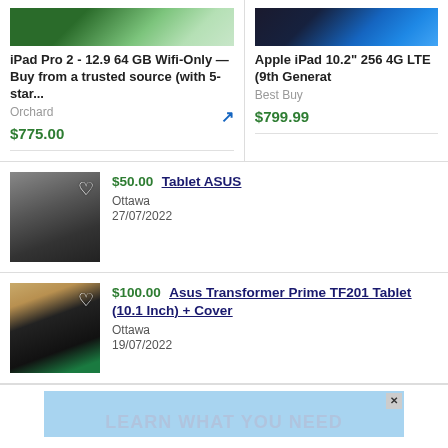[Figure (screenshot): Product listing screenshot showing two iPad listings at top, followed by two local Ottawa listings for ASUS tablets, and an ad banner at the bottom]
iPad Pro 2 - 12.9 64 GB Wifi-Only — Buy from a trusted source (with 5-star...
Orchard
$775.00
Apple iPad 10.2" 256 4G LTE (9th Generat
Best Buy
$799.99
$50.00 Tablet ASUS
Ottawa
27/07/2022
$100.00 Asus Transformer Prime TF201 Tablet (10.1 Inch) + Cover
Ottawa
19/07/2022
LEARN WHAT YOU NEED